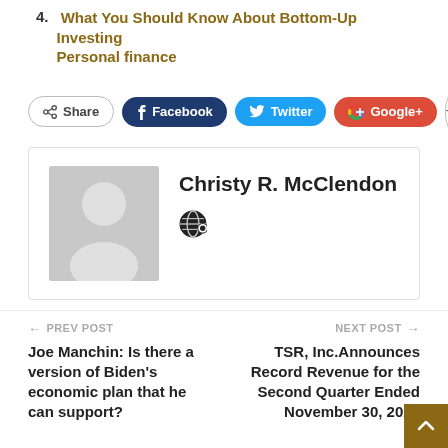4. What You Should Know About Bottom-Up Investing Personal finance
[Figure (infographic): Social share buttons: Share, Facebook, Twitter, Google+, and a plus (+) button]
[Figure (infographic): Author profile box with a gray placeholder avatar and the name Christy R. McClendon, with a globe/web icon below the name]
← PREV POST
Joe Manchin: Is there a version of Biden's economic plan that he can support?
NEXT POST →
TSR, Inc.Announces Record Revenue for the Second Quarter Ended November 30, 2021